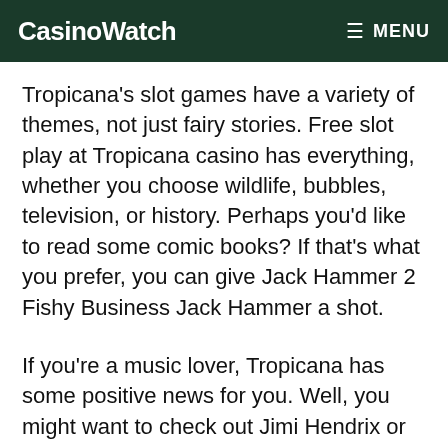CasinoWatch | MENU
Tropicana's slot games have a variety of themes, not just fairy stories. Free slot play at Tropicana casino has everything, whether you choose wildlife, bubbles, television, or history. Perhaps you'd like to read some comic books? If that's what you prefer, you can give Jack Hammer 2 Fishy Business Jack Hammer a shot.
If you're a music lover, Tropicana has some positive news for you. Well, you might want to check out Jimi Hendrix or Motorhead. However, we are confident that you could always find anything to your taste. You will discover not only their large selection of